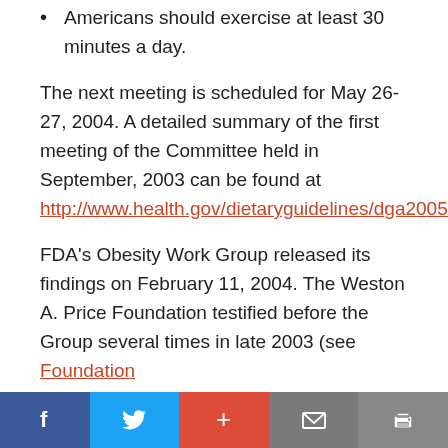Americans should exercise at least 30 minutes a day.
The next meeting is scheduled for May 26-27, 2004. A detailed summary of the first meeting of the Committee held in September, 2003 can be found at http://www.health.gov/dietaryguidelines/dga2005/minutes09_2324_2003.htm.
FDA's Obesity Work Group released its findings on February 11, 2004. The Weston A. Price Foundation testified before the Group several times in late 2003 (see Foundation
Facebook Twitter + Mail Print